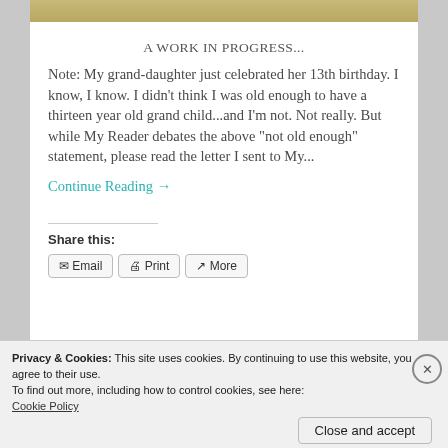A WORK IN PROGRESS...
Note:  My grand-daughter just celebrated her 13th birthday. I know, I know. I didn't think I was old enough to have a thirteen year old grand child...and I'm not. Not really. But while My Reader debates the above "not old enough" statement,  please read the letter I sent to My...
Continue Reading →
Share this:
Email   Print   More
Privacy & Cookies: This site uses cookies. By continuing to use this website, you agree to their use.
To find out more, including how to control cookies, see here: Cookie Policy
Close and accept